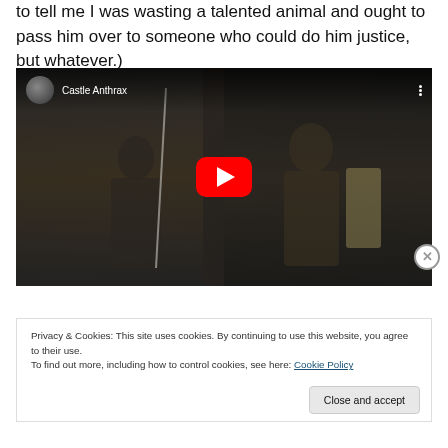to tell me I was wasting a talented animal and ought to pass him over to someone who could do him justice, but whatever.)
[Figure (screenshot): YouTube embedded video player showing 'Castle Anthrax' with a dark medieval film scene, red play button in center, channel avatar and video title in top-left, vertical dots menu in top-right]
Privacy & Cookies: This site uses cookies. By continuing to use this website, you agree to their use.
To find out more, including how to control cookies, see here: Cookie Policy